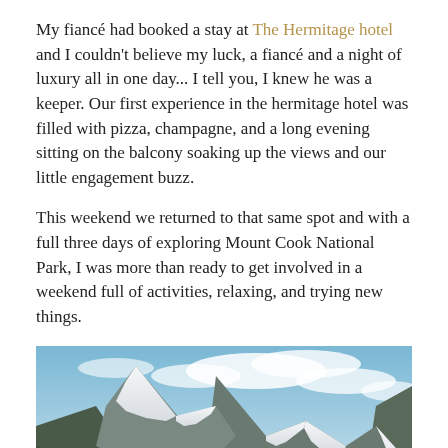My fiancé had booked a stay at The Hermitage hotel and I couldn't believe my luck, a fiancé and a night of luxury all in one day... I tell you, I knew he was a keeper. Our first experience in the hermitage hotel was filled with pizza, champagne, and a long evening sitting on the balcony soaking up the views and our little engagement buzz.
This weekend we returned to that same spot and with a full three days of exploring Mount Cook National Park, I was more than ready to get involved in a weekend full of activities, relaxing, and trying new things.
[Figure (photo): Panoramic photograph of snow-capped mountains in Mount Cook National Park, with blue sky and clouds above, and rocky/vegetated slopes in the foreground.]